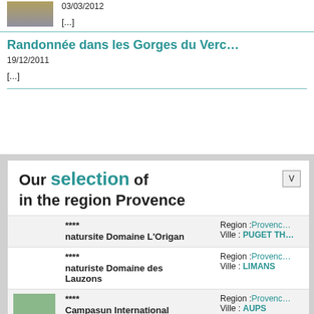03/03/2012
[...]
Randonnée dans les Gorges du Verc…
19/12/2011
[...]
Our selection of in the region Provence
| Image | Stars / Name | Region / Ville |
| --- | --- | --- |
|  | ****
natursite Domaine L'Origan | Region :Provenc…
Ville : PUGET TH… |
|  | ****
naturiste Domaine des Lauzons | Region :Provenc…
Ville : LIMANS |
| [image] | ****
Campasun International d'Aups | Region :Provenc…
Ville : AUPS |
| [image] | ***
Campasun Camping de l'Aigle | Region :Provenc…
Ville : AIGUINES |